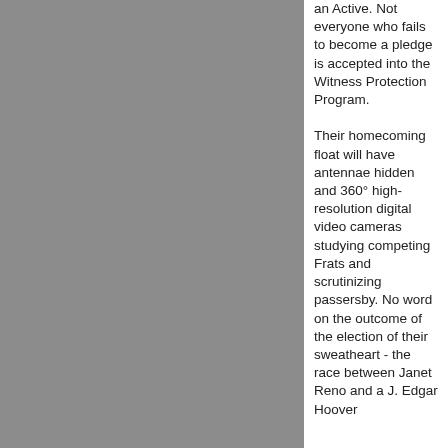[Figure (photo): Large grey/silver image filling the left two-thirds of the page]
an Active. Not everyone who fails to become a pledge is accepted into the Witness Protection Program.
Their homecoming float will have antennae hidden and 360° high-resolution digital video cameras studying competing Frats and scrutinizing passersby. No word on the outcome of the election of their sweatheart - the race between Janet Reno and a J. Edgar Hoover